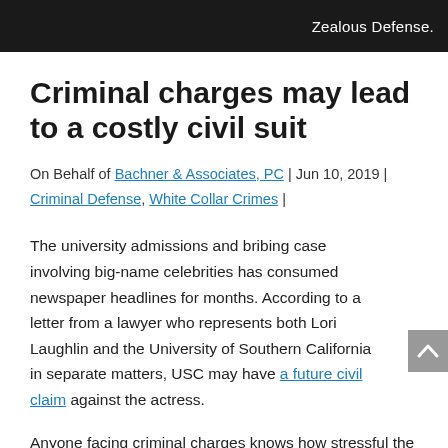Zealous Defense.
Criminal charges may lead to a costly civil suit
On Behalf of Bachner & Associates, PC | Jun 10, 2019 | Criminal Defense, White Collar Crimes |
The university admissions and bribing case involving big-name celebrities has consumed newspaper headlines for months. According to a letter from a lawyer who represents both Lori Laughlin and the University of Southern California in separate matters, USC may have a future civil claim against the actress.
Anyone facing criminal charges knows how stressful the